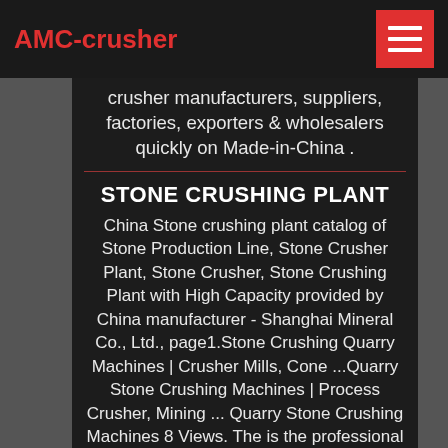AMC-crusher
crusher manufacturers, suppliers, factories, exporters & wholesalers quickly on Made-in-China .
STONE CRUSHING PLANT
China Stone crushing plant catalog of Stone Production Line, Stone Crusher Plant, Stone Crusher, Stone Crushing Plant with High Capacity provided by China manufacturer - Shanghai Mineral Co., Ltd., page1.Stone Crushing Quarry Machines | Crusher Mills, Cone ...Quarry Stone Crushing Machines | Process Crusher, Mining ... Quarry Stone Crushing Machines 8 Views. The is the professional mining equipments manufacturer in the world, located in China,India, along with other Asian ...